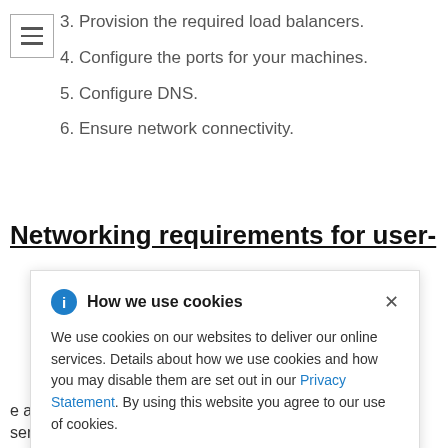3. Provision the required load balancers.
4. Configure the ports for your machines.
5. Configure DNS.
6. Ensure network connectivity.
Networking requirements for user-
RHCOS) uring boot Config
How we use cookies
We use cookies on our websites to deliver our online services. Details about how we use cookies and how you may disable them are set out in our Privacy Statement. By using this website you agree to our use of cookies.
e an FTP server in order to establish a network connection to